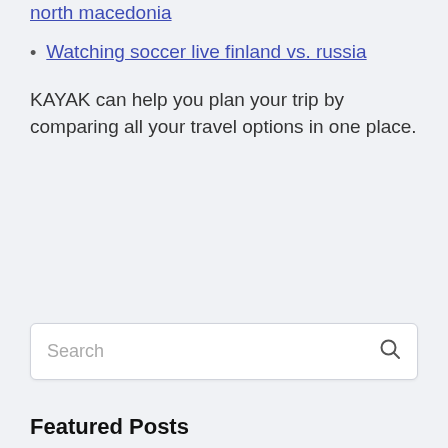Euro 2020 broadcast venue manager deid ukraine vs north macedonia
Watching soccer live finland vs. russia
KAYAK can help you plan your trip by comparing all your travel options in one place.
Featured Posts